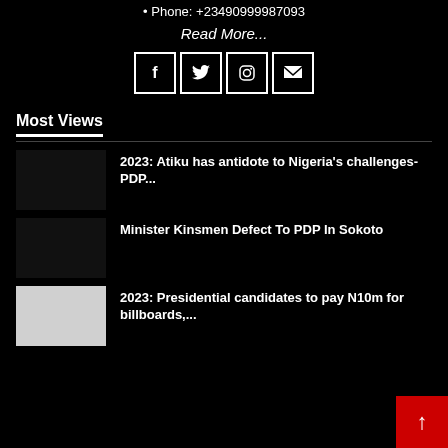Phone: +23490999987093
Read More...
[Figure (other): Social media icons: Facebook, Twitter, Instagram, Email]
Most Views
2023: Atiku has antidote to Nigeria's challenges- PDP...
Minister Kinsmen Defect To PDP In Sokoto
2023: Presidential candidates to pay N10m for billboards,...